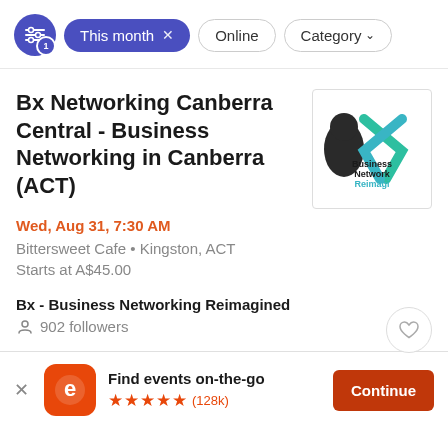This month × | Online | Category
Bx Networking Canberra Central - Business Networking in Canberra (ACT)
Wed, Aug 31, 7:30 AM
Bittersweet Cafe • Kingston, ACT
Starts at A$45.00
Bx - Business Networking Reimagined
902 followers
Find events on-the-go ★★★★★ (128k)
Continue